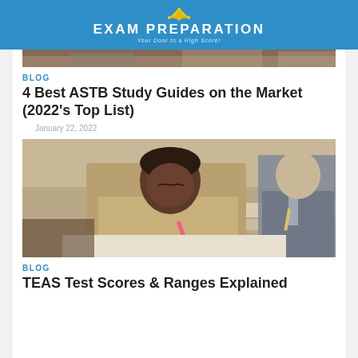EXAM PREPARATION — Your Door to a High Score!
[Figure (photo): Partial top of a photo showing students studying, cropped at top of page]
BLOG
4 Best ASTB Study Guides on the Market (2022's Top List)
January 22, 2022
[Figure (photo): A young man in a beige shirt writing with a pink pen at a desk in a classroom, another student in a suit visible in background]
BLOG
TEAS Test Scores & Ranges Explained